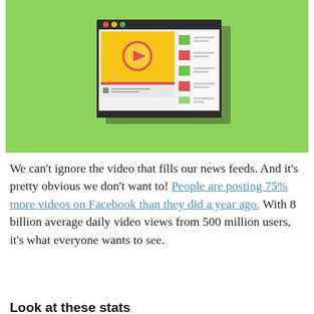[Figure (illustration): Illustration of a video player interface on a computer screen with a yellow video thumbnail showing a play button, side panel with colored rectangles (green, orange, green, orange) and horizontal lines, on a light green background.]
We can't ignore the video that fills our news feeds. And it's pretty obvious we don't want to! People are posting 75% more videos on Facebook than they did a year ago. With 8 billion average daily video views from 500 million users, it's what everyone wants to see.
Look at these stats